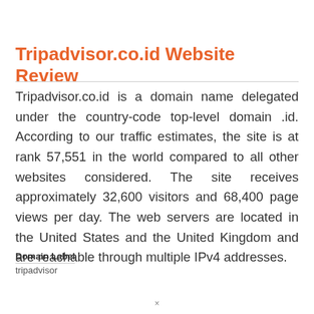Tripadvisor.co.id Website Review
Tripadvisor.co.id is a domain name delegated under the country-code top-level domain .id. According to our traffic estimates, the site is at rank 57,551 in the world compared to all other websites considered. The site receives approximately 32,600 visitors and 68,400 page views per day. The web servers are located in the United States and the United Kingdom and are reachable through multiple IPv4 addresses.
| Domain Label |
| --- |
| tripadvisor |
×